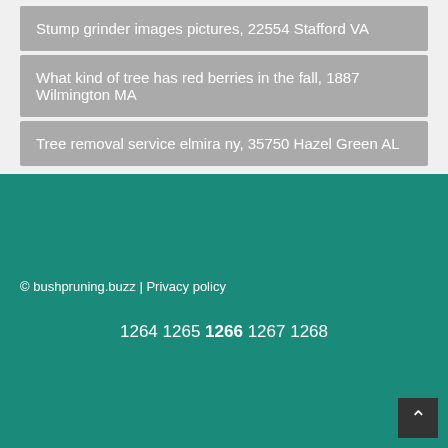Stump grinder images pictures, 22554 Stafford VA
What kind of tree has red berries in the fall, 1887 Wilmington MA
Tree removal service elmira ny, 35750 Hazel Green AL
© bushpruning.buzz | Privacy policy
1264 1265 1266 1267 1268